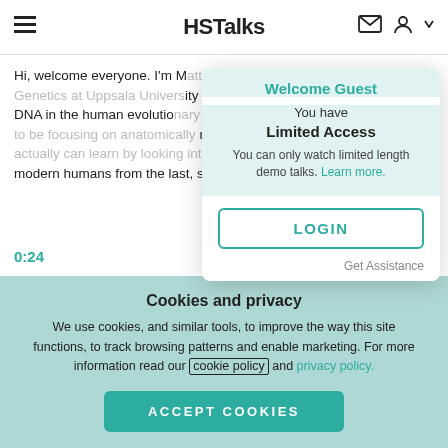HSTalks
Hi, welcome everyone. I'm Mattias Jakobsson. I'm Professor of Genetics at Uppsala University and I will be talking about ancient DNA in the human evolutionary inference. And I'm mainly going to be focusing on anatomically modern humans and what we actually can learn by looking into genetic information from modern humans from the last, say, 10,000-5,000 years.
0:24
So my outline is the following: I'm going to start by talking about some patterns of genetic variation in Europe, and how they can be interpreted in terms of the neolithic transition and the migration of farmers into Europe. And t
Welcome Guest
You have
Limited Access
You can only watch limited length demo talks. Learn more.
LOGIN
Get Assistance
Cookies and privacy
We use cookies, and similar tools, to improve the way this site functions, to track browsing patterns and enable marketing. For more information read our cookie policy and privacy policy.
ACCEPT COOKIES